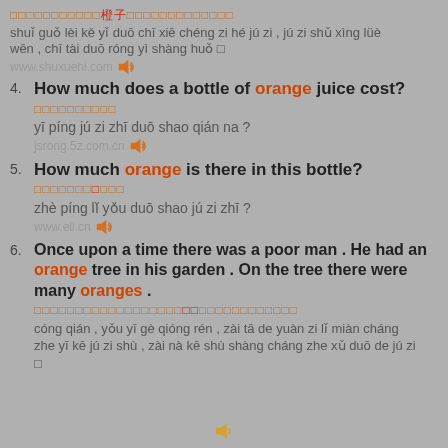水果类可以多吃些橙子和橘子，橘子属性略温，吃太多容易上火。
shuǐ guǒ lèi kě yǐ duō chī xiē chéng zi hé jú zi , jú zi shǔ xìng lüè wēn , chī tài duō róng yì shàng huǒ。
www.shuxuehi.com
4. How much does a bottle of orange juice cost?
一瓶橘子汁多少钱哪？
yī píng jú zi zhī duō shao qián na ?
jsrong.5z.com.cn
5. How much orange is there in this bottle?
这瓶里有多少橘子汁？
zhè píng lǐ yǒu duō shao jú zi zhī ?
www.ell.cn
6. Once upon a time there was a poor man . He had an orange tree in his garden . On the tree there were many oranges .
从前，有一个穷人，在他的院子里面长着一棵橘子树，在那棵树上长着许多的橘子。
cóng qián , yǒu yī gè qióng rén , zài tā de yuàn zi lǐ miàn cháng zhe yī kē jú zi shù , zài nà kē shù shàng cháng zhe xǔ duō de jú zi。